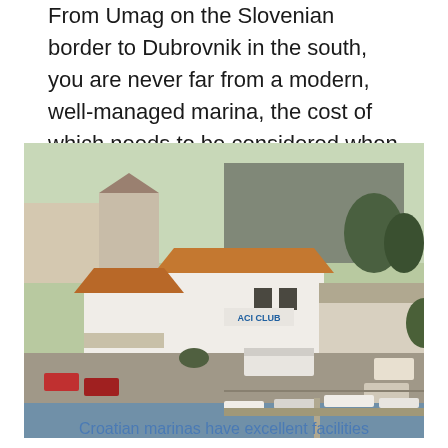From Umag on the Slovenian border to Dubrovnik in the south, you are never far from a modern, well-managed marina, the cost of which needs to be considered when planning your charter.
[Figure (photo): Aerial view of ACI Club marina showing white buildings with terracotta roofs, parking areas, docked boats and waterfront in a Croatian coastal town]
Croatian marinas have excellent facilities